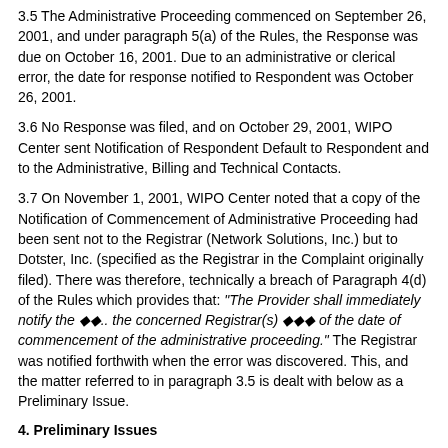3.5 The Administrative Proceeding commenced on September 26, 2001, and under paragraph 5(a) of the Rules, the Response was due on October 16, 2001. Due to an administrative or clerical error, the date for response notified to Respondent was October 26, 2001.
3.6 No Response was filed, and on October 29, 2001, WIPO Center sent Notification of Respondent Default to Respondent and to the Administrative, Billing and Technical Contacts.
3.7 On November 1, 2001, WIPO Center noted that a copy of the Notification of Commencement of Administrative Proceeding had been sent not to the Registrar (Network Solutions, Inc.) but to Dotster, Inc. (specified as the Registrar in the Complaint originally filed). There was therefore, technically a breach of Paragraph 4(d) of the Rules which provides that: "The Provider shall immediately notify the ◆◆.. the concerned Registrar(s) ◆◆◆ of the date of commencement of the administrative proceeding." The Registrar was notified forthwith when the error was discovered. This, and the matter referred to in paragraph 3.5 is dealt with below as a Preliminary Issue.
4. Preliminary Issues
4.1 The procedural errors referred to in paragraphs 3.5 and 3.7 above have not had a prejudicial effect on the position of Respondent nor have they seriously affected the disposition of the proceeding. Nevertheless, they are matters which need to be dealt with by the Panel.
4.2 Paragraph 10 of the Rules sets out the powers and duties of the Panel and provides that the Panel shall: